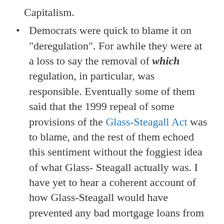Capitalism.
Democrats were quick to blame it on "deregulation". For awhile they were at a loss to say the removal of which regulation, in particular, was responsible. Eventually some of them said that the 1999 repeal of some provisions of the Glass-Steagall Act was to blame, and the rest of them echoed this sentiment without the foggiest idea of what Glass-Steagall actually was. I have yet to hear a coherent account of how Glass-Steagall would have prevented any bad mortgage loans from being made.
Predictably, Republicans countered the Democrats, blaming the meltdown on too...